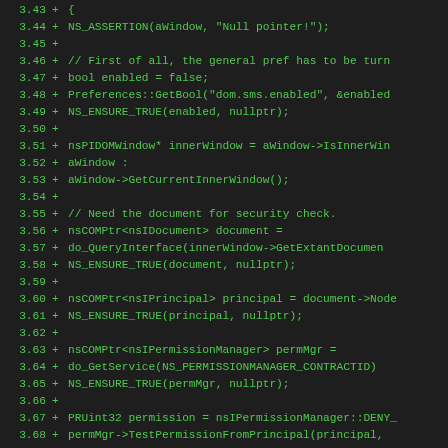Code diff showing lines 3.43-3.74 of a C++ source file with added lines implementing SMS manager functionality including assertions, preference checks, window handling, document/principal/permission manager retrieval, and permission checking.